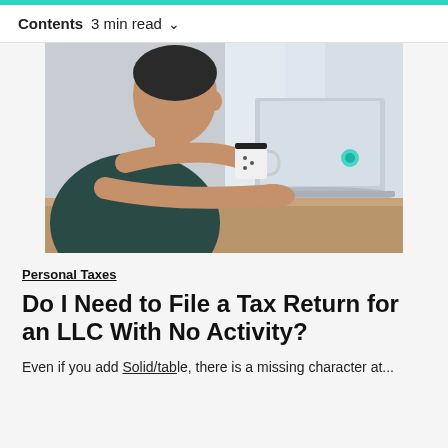Contents  3 min read  ∨
[Figure (photo): Person sitting at a desk, holding a coffee mug, working on a laptop computer. Side profile view, wearing a dark shirt.]
Personal Taxes
Do I Need to File a Tax Return for an LLC With No Activity?
Even if you add Solid/table, there is a missing character at...